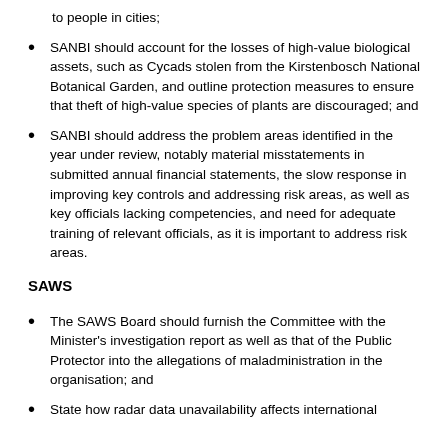to people in cities;
SANBI should account for the losses of high-value biological assets, such as Cycads stolen from the Kirstenbosch National Botanical Garden, and outline protection measures to ensure that theft of high-value species of plants are discouraged; and
SANBI should address the problem areas identified in the year under review, notably material misstatements in submitted annual financial statements, the slow response in improving key controls and addressing risk areas, as well as key officials lacking competencies, and need for adequate training of relevant officials, as it is important to address risk areas.
SAWS
The SAWS Board should furnish the Committee with the Minister's investigation report as well as that of the Public Protector into the allegations of maladministration in the organisation; and
State how radar data unavailability affects international